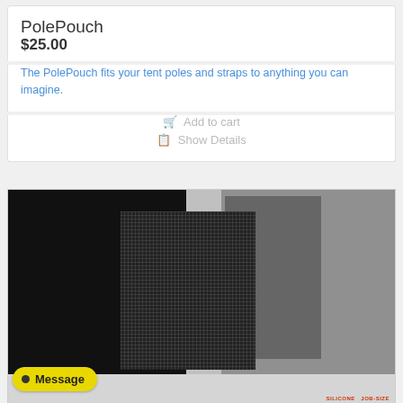PolePouch
$25.00
The PolePouch fits your tent poles and straps to anything you can imagine.
Add to cart
Show Details
[Figure (photo): Photo showing multiple fabric/material swatches or pouches in black, dark mesh, medium gray, and light gray tones, with accessories visible at the bottom including metal rings and a silicone label.]
Message